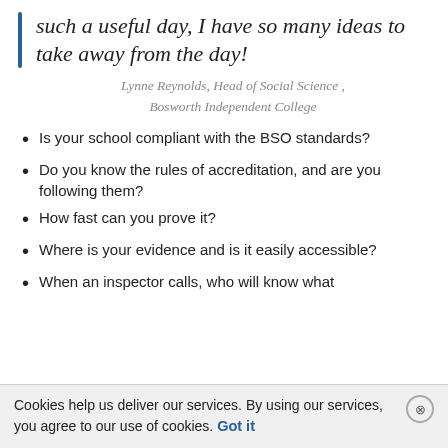such a useful day, I have so many ideas to take away from the day!
Lynne Reynolds, Head of Social Science , Bosworth Independent College
Is your school compliant with the BSO standards?
Do you know the rules of accreditation, and are you following them?
How fast can you prove it?
Where is your evidence and is it easily accessible?
When an inspector calls, who will know what
Cookies help us deliver our services. By using our services, you agree to our use of cookies. Got it